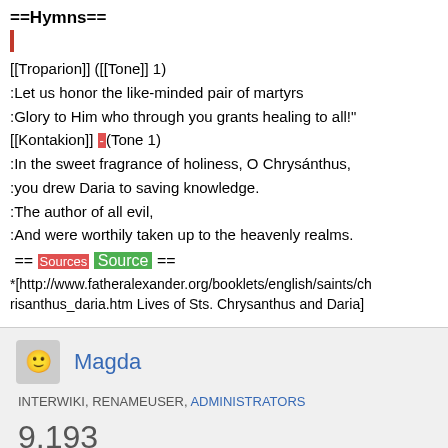==Hymns==
[[Troparion]] ([[Tone]] 1)
:Let us honor the like-minded pair of martyrs
:Glory to Him who through you grants healing to all!"
[[Kontakion]] [red box](Tone 1)
:In the sweet fragrance of holiness, O Chrysánthus,
:you drew Daria to saving knowledge.
:The author of all evil,
:And were worthily taken up to the heavenly realms.
== Sources Source ==
*[http://www.fatheralexander.org/booklets/english/saints/chrisanthus_daria.htm Lives of Sts. Chrysanthus and Daria]
Magda
INTERWIKI, RENAMEUSER, ADMINISTRATORS
9,193
EDITS